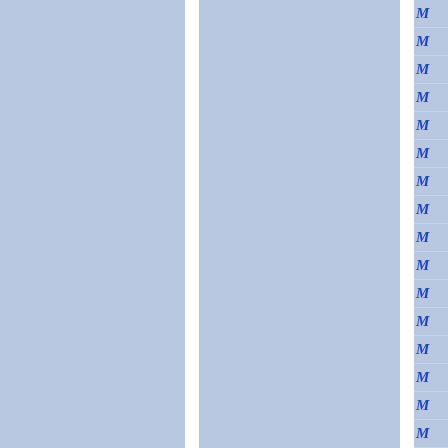[Figure (other): Page showing two large blue-grey panels separated by a white vertical divider on the left portion, and a narrow right sidebar containing repeated italic bold blue letter M entries separated by thin horizontal lines on a light blue-grey background.]